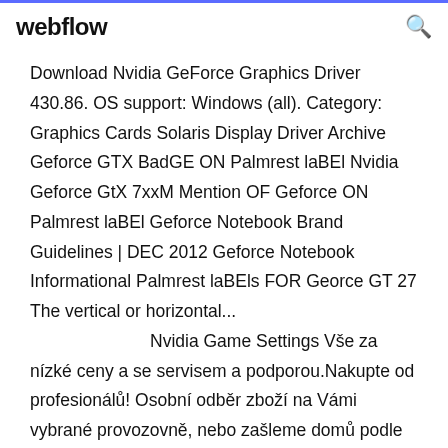webflow
Download Nvidia GeForce Graphics Driver 430.86. OS support: Windows (all). Category: Graphics Cards Solaris Display Driver Archive Geforce GTX BadGE ON Palmrest laBEl Nvidia Geforce GtX 7xxM Mention OF Geforce ON Palmrest laBEl Geforce Notebook Brand Guidelines | DEC 2012 Geforce Notebook Informational Palmrest laBEls FOR Georce GT 27 The vertical or horizontal...
Nvidia Game Settings Vše za nízké ceny a se servisem a podporou.Nakupte od profesionálů! Osobní odběr zboží na Vámi vybrané provozovně, nebo zašleme domů podle Vašeho přání. Veškeré uvedené výrobky jsou